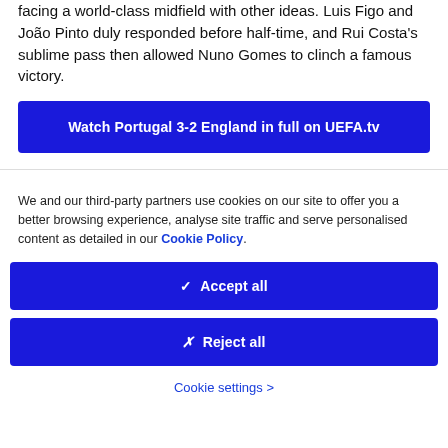facing a world-class midfield with other ideas. Luis Figo and João Pinto duly responded before half-time, and Rui Costa's sublime pass then allowed Nuno Gomes to clinch a famous victory.
Watch Portugal 3-2 England in full on UEFA.tv
We and our third-party partners use cookies on our site to offer you a better browsing experience, analyse site traffic and serve personalised content as detailed in our Cookie Policy.
✓ Accept all
✗ Reject all
Cookie settings >